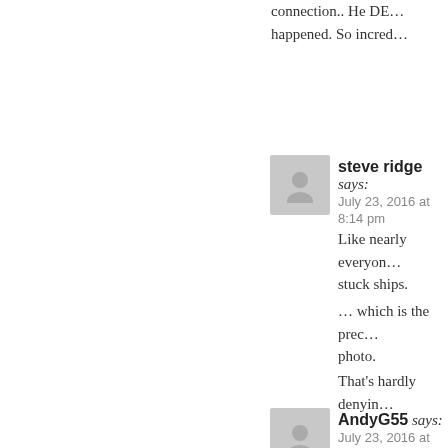connection.. He DE… happened. So incred…
steve ridge says: July 23, 2016 at 8:14 pm
Like nearly everyon… stuck ships.
… which is the prec… photo.
That's hardly denyin…
AndyG55 says: July 23, 2016 at 8:19 pm
Oh dear, poor Steve… IGNORANCE…